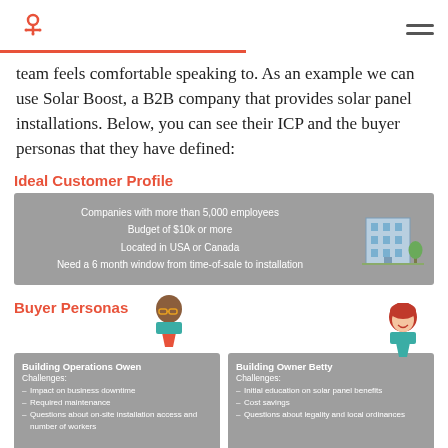HubSpot logo and navigation
team feels comfortable speaking to. As an example we can use Solar Boost, a B2B company that provides solar panel installations. Below, you can see their ICP and the buyer personas that they have defined:
Ideal Customer Profile
[Figure (infographic): Grey box with ICP details: Companies with more than 5,000 employees, Budget of $10k or more, Located in USA or Canada, Need a 6 month window from time-of-sale to installation. Office building illustration on the right.]
Buyer Personas
[Figure (infographic): Two buyer persona cards side by side. Left: Building Operations Owen, Challenges: Impact on business downtime, Required maintenance, Questions about on-site installation access and number of workers. Right: Building Owner Betty, Challenges: Initial education on solar panel benefits, Cost savings, Questions about legality and local ordinances. Each card has an avatar illustration above it.]